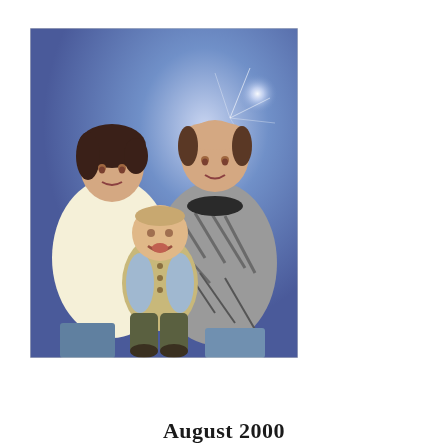[Figure (photo): A family portrait photo showing a woman in a light yellow sweater on the left, a man in a patterned grey sweater on the right, and a baby/toddler in the center wearing a tan vest, posed against a blue studio backdrop with a starburst effect.]
August 2000